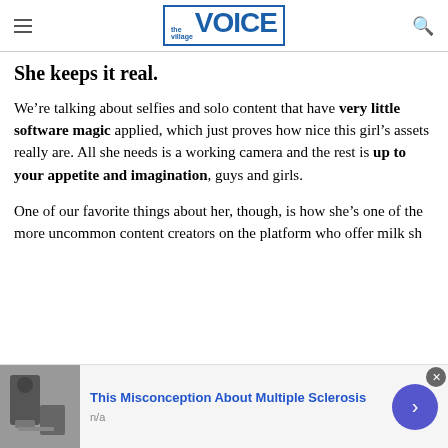the Village VOICE
She keeps it real.
We're talking about selfies and solo content that have very little software magic applied, which just proves how nice this girl's assets really are. All she needs is a working camera and the rest is up to your appetite and imagination, guys and girls.
One of our favorite things about her, though, is how she's one of the more uncommon content creators on the platform who offer milk s…
[Figure (screenshot): Advertisement banner at bottom: thumbnail image of a person with a wheelchair/mobility aid, ad title 'This Misconception About Multiple Sclerosis', subtext 'n/a', close button (X), and blue arrow navigation button]